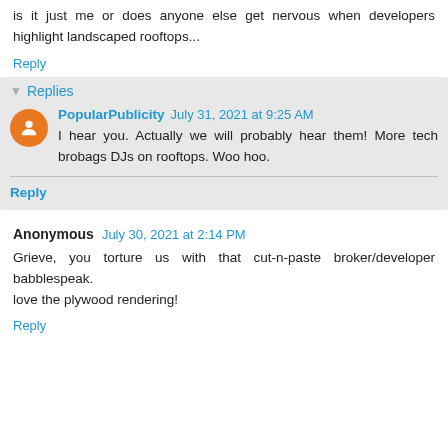is it just me or does anyone else get nervous when developers highlight landscaped rooftops...
Reply
Replies
PopularPublicity July 31, 2021 at 9:25 AM
I hear you. Actually we will probably hear them! More tech brobags DJs on rooftops. Woo hoo.
Reply
Anonymous July 30, 2021 at 2:14 PM
Grieve, you torture us with that cut-n-paste broker/developer babblespeak.
love the plywood rendering!
Reply